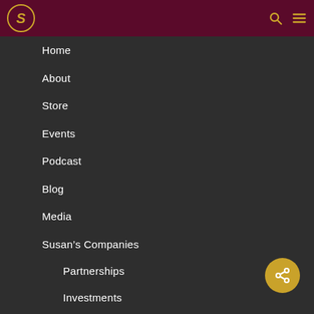S [logo] [search icon] [menu icon]
Home
About
Store
Events
Podcast
Blog
Media
Susan's Companies
Partnerships
Investments
Privacy Policy
Purchase Policy